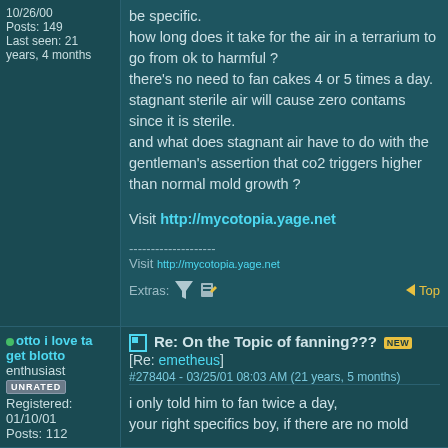10/26/00
Posts: 149
Last seen: 21 years, 4 months
be specific.
how long does it take for the air in a terrarium to go from ok to harmful ?
there's no need to fan cakes 4 or 5 times a day.
stagnant sterile air will cause zero contams since it is sterile.
and what does stagnant air have to do with the gentleman's assertion that co2 triggers higher than normal mold growth ?
Visit http://mycotopia.yage.net
--------------------
Visit http://mycotopia.yage.net
Extras: [icons] Top
otto i love ta get blotto
enthusiast
UNRATED
Registered: 01/10/01
Posts: 112
Re: On the Topic of fanning??? [NEW] [Re: emetheus]
#278404 - 03/25/01 08:03 AM (21 years, 5 months)
i only told him to fan twice a day,
your right specifics boy, if there are no mold